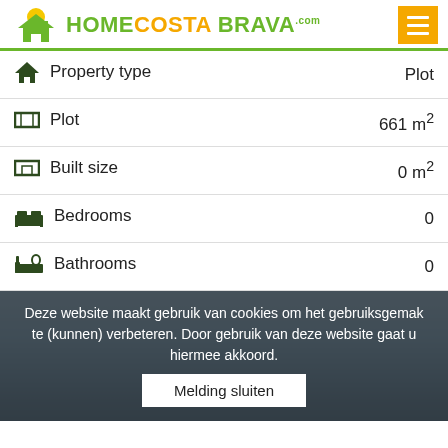HOME COSTA BRAVA .com
| Property attribute | Value |
| --- | --- |
| Property type | Plot |
| Plot | 661 m² |
| Built size | 0 m² |
| Bedrooms | 0 |
| Bathrooms | 0 |
[Figure (photo): Coastal landscape with sea and cloudy sky]
Deze website maakt gebruik van cookies om het gebruiksgemak te (kunnen) verbeteren. Door gebruik van deze website gaat u hiermee akkoord. Melding sluiten